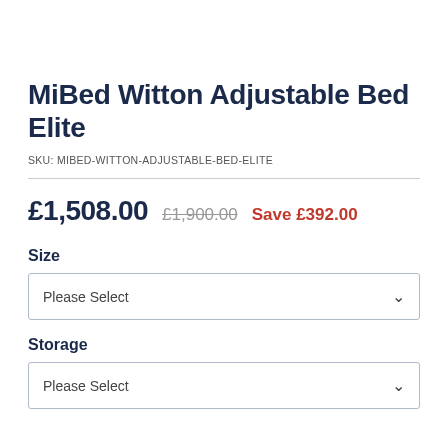MiBed Witton Adjustable Bed Elite
SKU: MIBED-WITTON-ADJUSTABLE-BED-ELITE
£1,508.00  £1,900.00  Save £392.00
Size
Please Select
Storage
Please Select